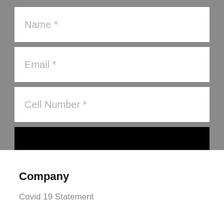[Figure (screenshot): Web form with three input fields (Name *, Email *, Cell Number *) and a black Subscribe button, on a gray background]
Company
Covid 19 Statement